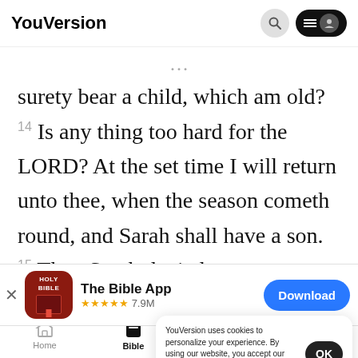YouVersion
surety bear a child, which am old? 14 Is any thing too hard for the LORD? At the set time I will return unto thee, when the season cometh round, and Sarah shall have a son. 15 Then Sarah denied,
[Figure (screenshot): The Bible App download banner with app icon, star rating 7.9M, and Download button]
YouVersion uses cookies to personalize your experience. By using our website, you accept our use of cookies as described in our Privacy Policy.
Home  Bible  Plans  Videos